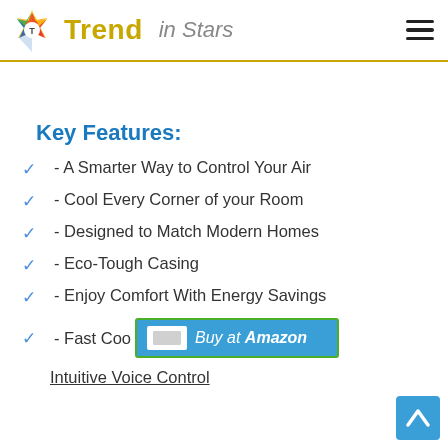Trend in Stars
Key Features:
- A Smarter Way to Control Your Air
- Cool Every Corner of your Room
- Designed to Match Modern Homes
- Eco-Tough Casing
- Enjoy Comfort With Energy Savings
- Fast Coo[ling...]
Intuitive Voice Control